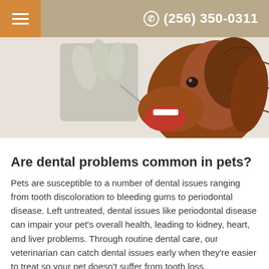(256) 350-0311
[Figure (photo): A veterinarian examining a dog's teeth using dental tools. The dog is a reddish-brown long-haired breed with its mouth open. Gloved hands hold dental instruments near the dog's mouth against a white background.]
Are dental problems common in pets?
Pets are susceptible to a number of dental issues ranging from tooth discoloration to bleeding gums to periodontal disease. Left untreated, dental issues like periodontal disease can impair your pet's overall health, leading to kidney, heart, and liver problems. Through routine dental care, our veterinarian can catch dental issues early when they're easier to treat so your pet doesn't suffer from tooth loss.
What are some signs that could indicate my pet has dental issues?